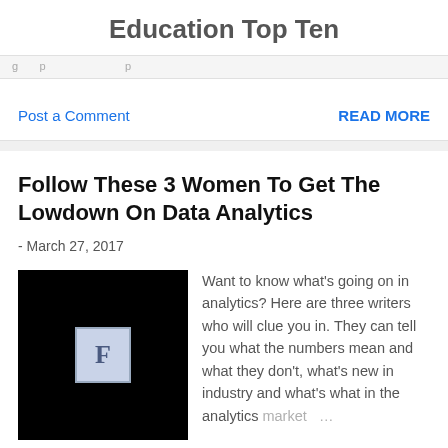Education Top Ten
Post a Comment
READ MORE
Follow These 3 Women To Get The Lowdown On Data Analytics
- March 27, 2017
[Figure (illustration): Black square thumbnail with a gray letter F box in the center]
Want to know what's going on in analytics? Here are three writers who will clue you in. They can tell you what the numbers mean and what they don't, what's new in industry and what's what in the analytics market ...